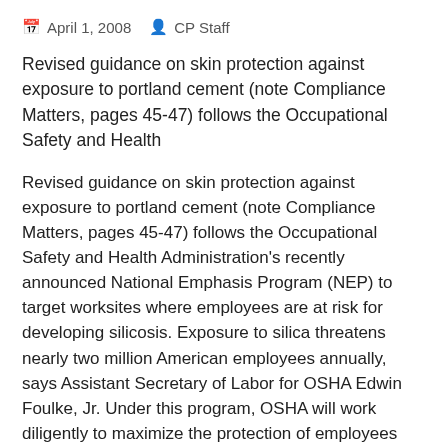April 1, 2008   CP Staff
Revised guidance on skin protection against exposure to portland cement (note Compliance Matters, pages 45-47) follows the Occupational Safety and Health
Revised guidance on skin protection against exposure to portland cement (note Compliance Matters, pages 45-47) follows the Occupational Safety and Health Administration's recently announced National Emphasis Program (NEP) to target worksites where employees are at risk for developing silicosis. Exposure to silica threatens nearly two million American employees annually, says Assistant Secretary of Labor for OSHA Edwin Foulke, Jr. Under this program, OSHA will work diligently to maximize the protection of employees and eliminate workplace exposures to silica-related hazards.
The NEP compliance directive builds on policies and procedures instituted in the 1996 Special Emphasis Program and includes an updated list of industries commonly known to